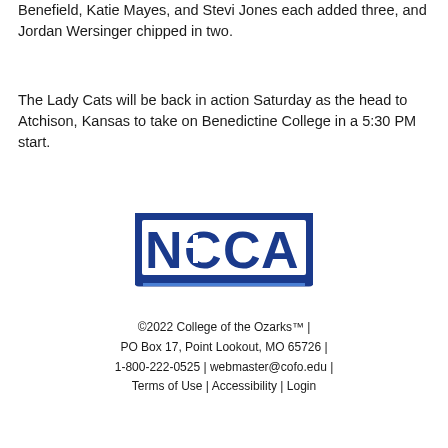Benefield, Katie Mayes, and Stevi Jones each added three, and Jordan Wersinger chipped in two.
The Lady Cats will be back in action Saturday as the head to Atchison, Kansas to take on Benedictine College in a 5:30 PM start.
[Figure (logo): NCCAA logo — blue rectangular badge with white block letters spelling NCCAA with a cross incorporated into the first C, blue double underline bar at bottom]
©2022 College of the Ozarks™ | PO Box 17, Point Lookout, MO 65726 | 1-800-222-0525 | webmaster@cofo.edu | Terms of Use | Accessibility | Login